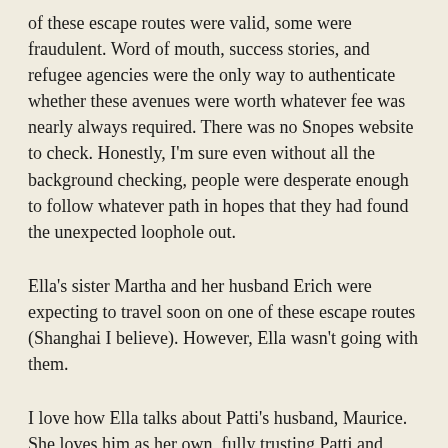of these escape routes were valid, some were fraudulent. Word of mouth, success stories, and refugee agencies were the only way to authenticate whether these avenues were worth whatever fee was nearly always required. There was no Snopes website to check. Honestly, I'm sure even without all the background checking, people were desperate enough to follow whatever path in hopes that they had found the unexpected loophole out.
Ella's sister Martha and her husband Erich were expecting to travel soon on one of these escape routes (Shanghai I believe). However, Ella wasn't going with them.
I love how Ella talks about Patti's husband, Maurice. She loves him as her own, fully trusting Patti and clearly connecting to whatever he wrote in his letters. She said he "belongs to us." Beautiful language.